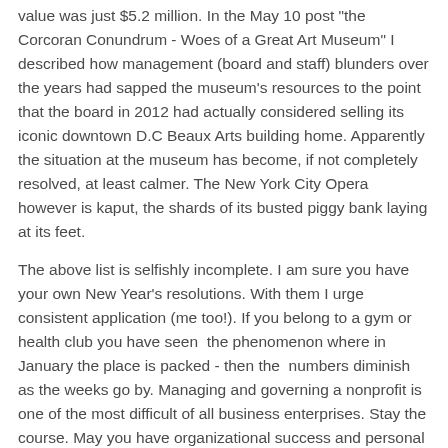value was just $5.2 million. In the May 10 post "the Corcoran Conundrum - Woes of a Great Art Museum" I described how management (board and staff) blunders over the years had sapped the museum's resources to the point that the board in 2012 had actually considered selling its iconic downtown D.C Beaux Arts building home. Apparently the situation at the museum has become, if not completely resolved, at least calmer. The New York City Opera however is kaput, the shards of its busted piggy bank laying at its feet.
The above list is selfishly incomplete. I am sure you have your own New Year's resolutions. With them I urge consistent application (me too!). If you belong to a gym or health club you have seen  the phenomenon where in January the place is packed - then the  numbers diminish as the weeks go by. Managing and governing a nonprofit is one of the most difficult of all business enterprises. Stay the course. May you have organizational success and personal fulfillment in 2014.